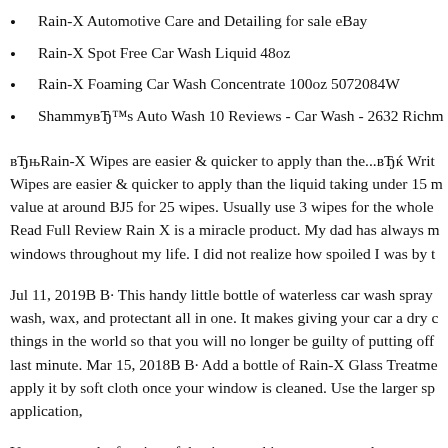Rain-X Automotive Care and Detailing for sale eBay
Rain-X Spot Free Car Wash Liquid 48oz
Rain-X Foaming Car Wash Concentrate 100oz 5072084W
ShammyвЂ™s Auto Wash 10 Reviews - Car Wash - 2632 Richm
вЂњRain-X Wipes are easier & quicker to apply than the...вЂќ Writ Wipes are easier & quicker to apply than the liquid taking under 15 m value at around BJ5 for 25 wipes. Usually use 3 wipes for the whole Read Full Review Rain X is a miracle product. My dad has always m windows throughout my life. I did not realize how spoiled I was by t
Jul 11, 2019В В· This handy little bottle of waterless car wash spray wash, wax, and protectant all in one. It makes giving your car a dry c things in the world so that you will no longer be guilty of putting off last minute. Mar 15, 2018В В· Add a bottle of Rain-X Glass Treatme apply it by soft cloth once your window is cleaned. Use the larger sp application,
You can spend a fraction of the time washing your car, and you can c